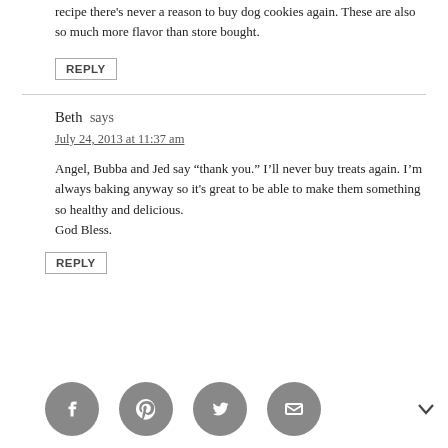recipe there's never a reason to buy dog cookies again. These are also so much more flavor than store bought.
REPLY
Beth says
July 24, 2013 at 11:37 am
Angel, Bubba and Jed say “thank you.” I’ll never buy treats again. I’m always baking anyway so it's great to be able to make them something so healthy and delicious.
God Bless.
REPLY